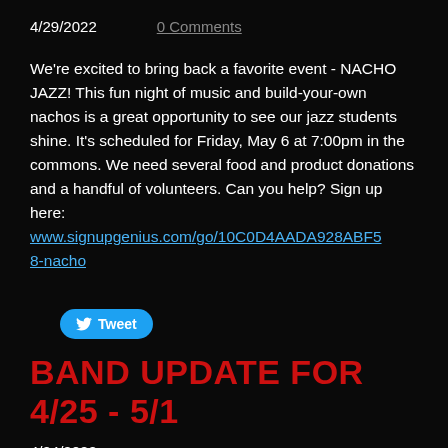4/29/2022   0 Comments
We're excited to bring back a favorite event  - NACHO JAZZ! This fun night of music and build-your-own nachos is a great opportunity to see our jazz students shine. It's scheduled for Friday, May 6 at 7:00pm in the commons. We need several food and product donations and a handful of volunteers. Can you help? Sign up here: www.signupgenius.com/go/10C0D4AADA928ABF58-nacho
[Figure (other): Tweet button with Twitter bird icon]
BAND UPDATE FOR 4/25 - 5/1
4/24/2022
Many events in the coming weeks. Please make sure as